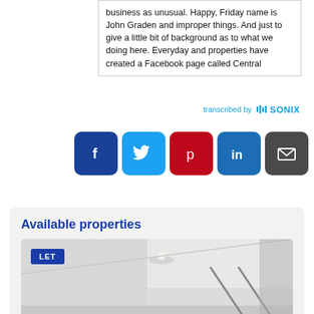business as unusual. Happy, Friday name is John Graden and improper things. And just to give a little bit of background as to what we doing here. Everyday and properties have created a Facebook page called Central
[Figure (screenshot): Sonix transcription branding bar with 'transcribed by' text and Sonix logo]
[Figure (infographic): Social share buttons: Facebook (blue), Twitter (light blue), Pinterest (red), LinkedIn (blue), Email (dark grey)]
Available properties
[Figure (photo): Interior room photo with LET badge overlay, showing white ceiling with recessed lighting and modern interior]